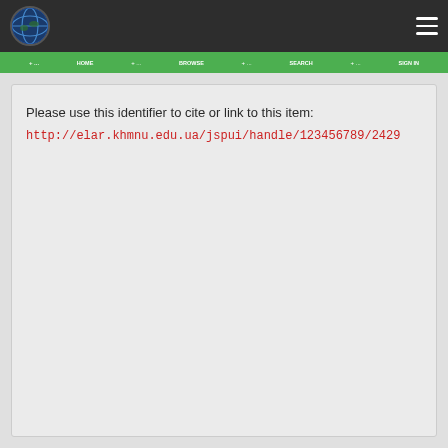[Figure (logo): University globe logo on dark header bar with hamburger menu icon]
[Figure (other): Green navigation bar with menu items]
Please use this identifier to cite or link to this item:
http://elar.khmnu.edu.ua/jspui/handle/123456789/2429